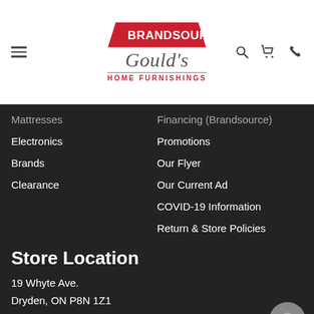[Figure (logo): BrandSource Gould's Home Furnishings logo with red house-shaped banner and script text]
Mattresses
Electronics
Brands
Clearance
Financing (Brandsource)
Promotions
Our Flyer
Our Current Ad
COVID-19 Information
Return & Store Policies
Store Location
19 Whyte Ave.
Dryden, ON P8N 1Z1
807-223-2275
Contact Us